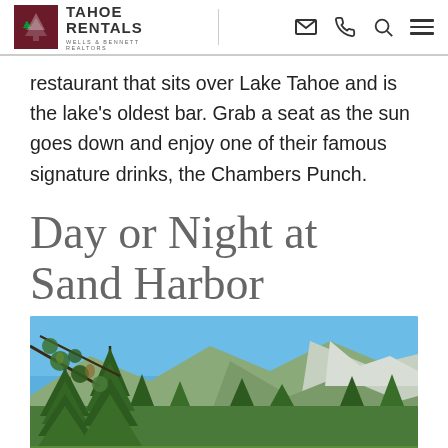Tahoe Rentals – Wells & Bennett Realtors
restaurant that sits over Lake Tahoe and is the lake's oldest bar. Grab a seat as the sun goes down and enjoy one of their famous signature drinks, the Chambers Punch.
Day or Night at Sand Harbor
[Figure (photo): Outdoor scenic photo of Sand Harbor area with pine trees in foreground, mountains in background, bright blue sky, green forest landscape]